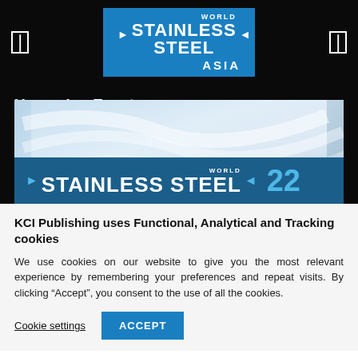[Figure (logo): World Stainless Steel Asia logo in blue header bar with arrows]
Upcoming Event
[Figure (screenshot): World Stainless Steel '22 event banner image with blue background and logo]
KCI Publishing uses Functional, Analytical and Tracking cookies
We use cookies on our website to give you the most relevant experience by remembering your preferences and repeat visits. By clicking “Accept”, you consent to the use of all the cookies.
Cookie settings | ACCEPT